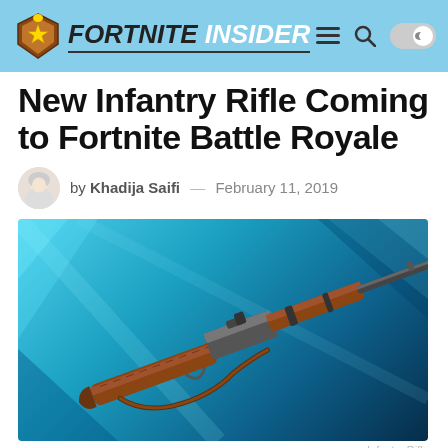FORTNITE INSIDER
New Infantry Rifle Coming to Fortnite Battle Royale
by Khadija Saifi — February 11, 2019
[Figure (photo): Fortnite Infantry Rifle promotional image — a wooden-stocked bolt-action rifle displayed on a blue burst background]
Infantry Rifle